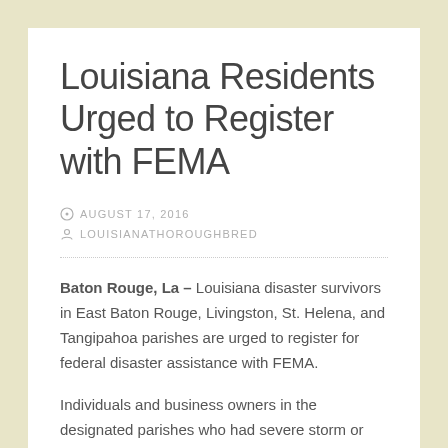Louisiana Residents Urged to Register with FEMA
AUGUST 17, 2016
LOUISIANATHOROUGHBRED
Baton Rouge, La – Louisiana disaster survivors in East Baton Rouge, Livingston, St. Helena, and Tangipahoa parishes are urged to register for federal disaster assistance with FEMA.
Individuals and business owners in the designated parishes who had severe storm or flood damage may register for